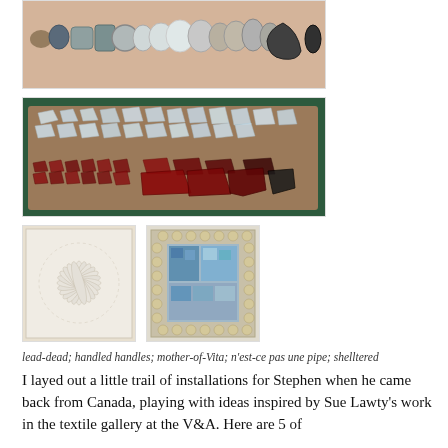[Figure (photo): A row of various ceramic and glass beads, rings and fragments laid out on a pinkish surface]
[Figure (photo): A collection of sea glass and glass fragments arranged in rows on a brown fabric background, clear glass on top rows and dark red/brown glass on bottom rows]
[Figure (photo): A white sculptural piece with radiating leaf/petal forms arranged in a circular sunburst pattern]
[Figure (photo): A framed artwork bordered with shells and beads, containing blue and multicolored glass or mosaic pieces in the center]
lead-dead; handled handles; mother-of-Vita; n'est-ce pas une pipe; shelltered
I layed out a little trail of installations for Stephen when he came back from Canada, playing with ideas inspired by Sue Lawty's work in the textile gallery at the V&A. Here are 5 of